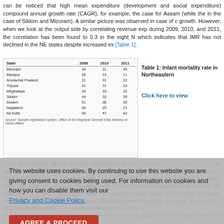can be noticed that high mean expenditure (development and social expenditure) compound annual growth rate (CAGR), for example, the case for Assam (while the in the case of Sikkim and Mizoram). A similar picture was observed in case of growth. However, when we look at the output side by correlating revenue exp during 2009, 2010, and 2011, the correlation has been found to 0.3 in the eight N which indicates that IMR has not declined in the NE states despite increased ex [Table 1].
| State | 2008 | 2010 | 2011 |
| --- | --- | --- | --- |
| Mizoram | 36 | 31 | 35 |
| Manipur | 26 | 14 | 11 |
| Arunachal Pradesh | 31 | 31 | 32 |
| Tripura | 41 | 71 | 33 |
| Meghalaya | 29 | 33 | 32 |
| Sikkim | 44 | 10 | 35 |
| Assam | 51 | 38 | 35 |
| Nagaland | 26 | 25 | 21 |
| All India | 50 | 47 | 44 |
Table 1: Infant mortality rate in Northeastern
Click here to view
Since the absolute figures of social service expenditure do not present the true picture of the an attempt was made to randomize the absolute figure with respect to the respective states. Figure 1 indicates social service expenditure per one lakh population population 1. No doubt, there has been an increase in expenditure both for social service expenditure across the NE states in the recent years, per capita value of expenditure was found to be higher in Sikkim, Arunachal Prad and was low in Assam, Meghalaya, and Nagaland. Likewise, similar expend observed while looking at the capital expenditure across the N
Figure 1: Social service expenditure expenditure per one lakh population among states from 2002 to 2010 (Randomized by